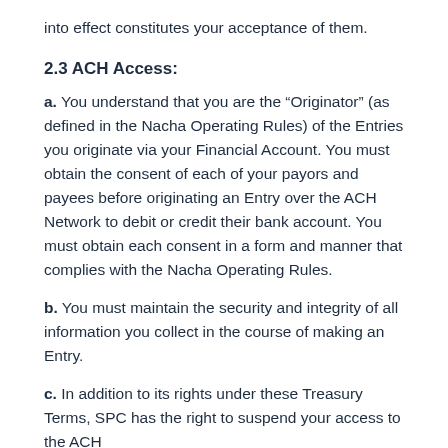into effect constitutes your acceptance of them.
2.3 ACH Access:
a. You understand that you are the “Originator” (as defined in the Nacha Operating Rules) of the Entries you originate via your Financial Account. You must obtain the consent of each of your payors and payees before originating an Entry over the ACH Network to debit or credit their bank account. You must obtain each consent in a form and manner that complies with the Nacha Operating Rules.
b. You must maintain the security and integrity of all information you collect in the course of making an Entry.
c. In addition to its rights under these Treasury Terms, SPC has the right to suspend your access to the ACH